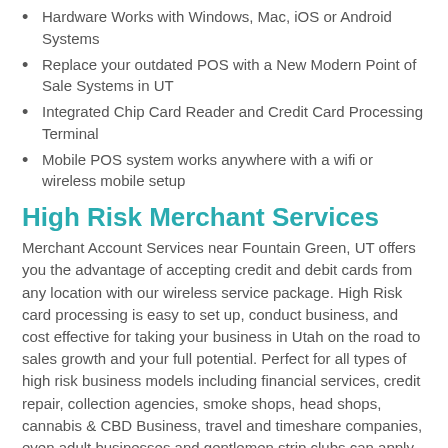Hardware Works with Windows, Mac, iOS or Android Systems
Replace your outdated POS with a New Modern Point of Sale Systems in UT
Integrated Chip Card Reader and Credit Card Processing Terminal
Mobile POS system works anywhere with a wifi or wireless mobile setup
High Risk Merchant Services
Merchant Account Services near Fountain Green, UT offers you the advantage of accepting credit and debit cards from any location with our wireless service package. High Risk card processing is easy to set up, conduct business, and cost effective for taking your business in Utah on the road to sales growth and your full potential. Perfect for all types of high risk business models including financial services, credit repair, collection agencies, smoke shops, head shops, cannabis & CBD Business, travel and timeshare companies, even adult businesses and gentlemen strip clubs can apply.
High Risk Credit Card Processors UT
Here are some of the added advantages that our high risk service